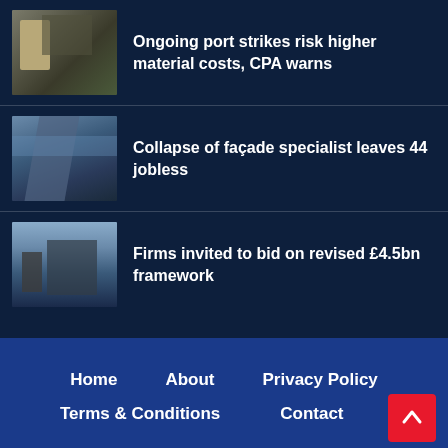[Figure (photo): Construction workers at a port]
Ongoing port strikes risk higher material costs, CPA warns
[Figure (photo): Modern glass facade architecture building]
Collapse of façade specialist leaves 44 jobless
[Figure (photo): City skyline with skyscrapers by the water]
Firms invited to bid on revised £4.5bn framework
Home   About   Privacy Policy   Terms & Conditions   Contact